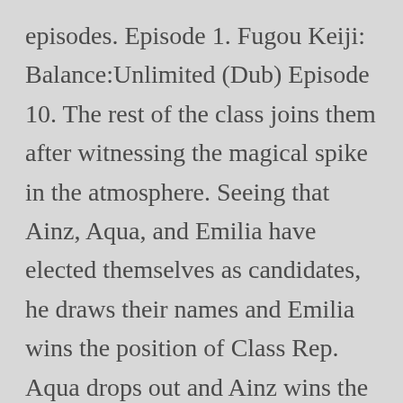episodes. Episode 1. Fugou Keiji: Balance:Unlimited (Dub) Episode 10. The rest of the class joins them after witnessing the magical spike in the atmosphere. Seeing that Ainz, Aqua, and Emilia have elected themselves as candidates, he draws their names and Emilia wins the position of Class Rep. Aqua drops out and Ainz wins the Vice Rep position. Sugoi 2nd 28,267 views. Later after school is over, Ainz and his Floor Guardians walk on a sidewalk when they are confronted by Aqua, who explains that she cannot allow the undead to continue and attempts to use her magic to vanquish them. Cocytus, Darkness, Koenig, Weiss, and [continues]